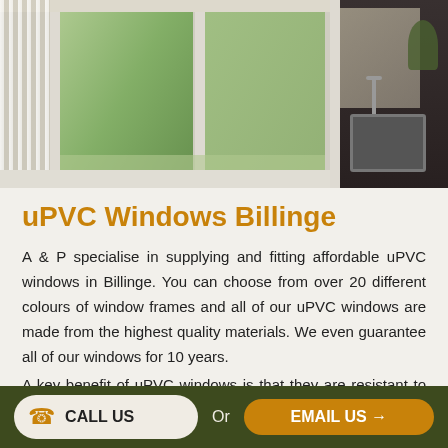[Figure (photo): Two-panel composite photo: left panel shows white uPVC window frames with green garden view and sheer curtains; right panel shows dark kitchen interior with window frame and tap/sink.]
uPVC Windows Billinge
A & P specialise in supplying and fitting affordable uPVC windows in Billinge. You can choose from over 20 different colours of window frames and all of our uPVC windows are made from the highest quality materials. We even guarantee all of our windows for 10 years.
A key benefit of uPVC windows is that they are resistant to corrosion and they do not rot, this makes uPVC windows extremely long-lasting.
Thanks to our great uPVC materials, you'll be able to
CALL US  Or  EMAIL US →